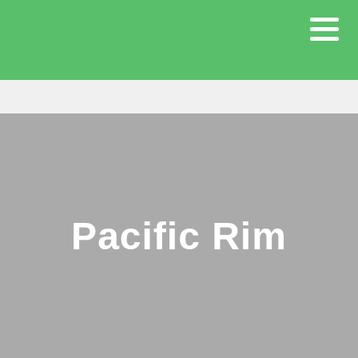[Figure (illustration): Gray placeholder image area with centered white bold text reading 'Pacific Rim']
Pacific Rim